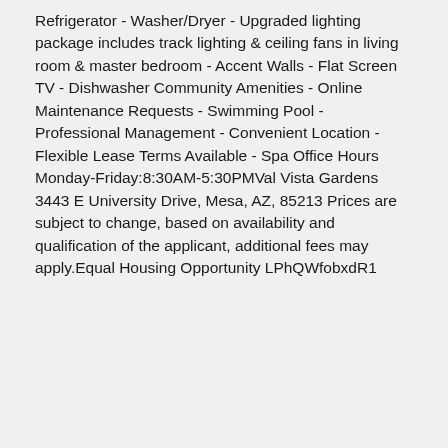Refrigerator - Washer/Dryer - Upgraded lighting package includes track lighting & ceiling fans in living room & master bedroom - Accent Walls - Flat Screen TV - Dishwasher Community Amenities - Online Maintenance Requests - Swimming Pool - Professional Management - Convenient Location - Flexible Lease Terms Available - Spa Office Hours Monday-Friday:8:30AM-5:30PMVal Vista Gardens 3443 E University Drive, Mesa, AZ, 85213 Prices are subject to change, based on availability and qualification of the applicant, additional fees may apply.Equal Housing Opportunity LPhQWfobxdR1